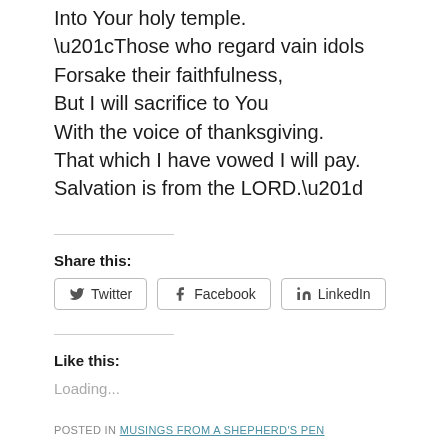Into Your holy temple.
“Those who regard vain idols
Forsake their faithfulness,
But I will sacrifice to You
With the voice of thanksgiving.
That which I have vowed I will pay.
Salvation is from the LORD.”
Share this:
Twitter  Facebook  LinkedIn
Like this:
Loading...
POSTED IN MUSINGS FROM A SHEPHERD’S PEN